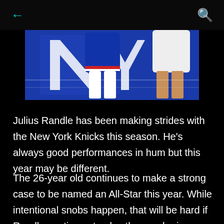← (back) and 🔍 (search)
[Figure (photo): Basketball players' legs and shorts visible on a basketball court with blue Knicks logo flooring. One player wears blue Knicks uniform, another wears white.]
Julius Randle has been making strides with the New York Knicks this season. He's always good performances in hum but this year may be different.
The 26-year old continues to make a strong case to be named an All-Star this year. While intentional snobs happen, that will be hard if Randle continues to play the way he is